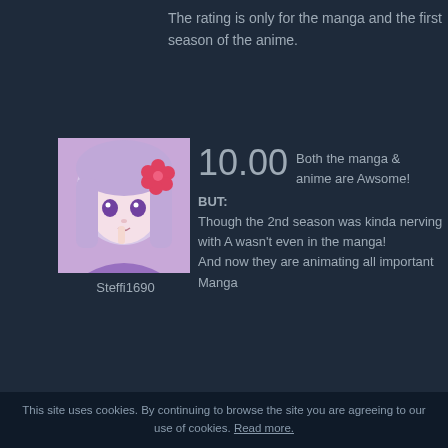The rating is only for the manga and the first season of the anime.
10.00  Both the manga & anime are Awsome!
BUT:
Though the 2nd season was kinda nerving with A wasn't even in the manga!
And now they are animating all important Manga
[Figure (illustration): Anime avatar of a purple-haired girl with flower, username Steffi1690]
6.00  I LOVE Kuroshitsuji as a manga but characters completely (or at all). It ju unnecessary and disturbing. As I watched the ani horror movie where you know the plot all too well big let down it'll be in the end (because you've se times better). The voices though, I found to be SR seeing the Kuroshitsuji cast in full color was wort the manga. Much better!
[Figure (illustration): Manga-style avatar of a person holding striped item, username woochann]
This site uses cookies. By continuing to browse the site you are agreeing to our use of cookies. Read more.